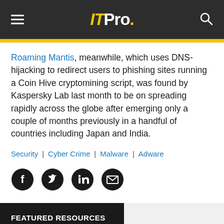ITPro.
Roaming Mantis, meanwhile, which uses DNS-hijacking to redirect users to phishing sites running a Coin Hive cryptomining script, was found by Kaspersky Lab last month to be on spreading rapidly across the globe after emerging only a couple of months previously in a handful of countries including Japan and India.
Security | Cyber Crime | Malware | Adware
[Figure (other): Social sharing icons: Facebook, Twitter, LinkedIn, Email]
FEATURED RESOURCES